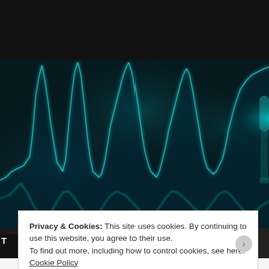On The Mic
Follow, Watch, Smile,and Rate!!
[Figure (illustration): Glowing cyan/teal audio waveform visualization on a dark background, resembling sound waves from a microphone. A microphone is partially visible on the right edge.]
How to Follow   About Naria
Privacy & Cookies: This site uses cookies. By continuing to use this website, you agree to their use.
To find out more, including how to control cookies, see here: Cookie Policy
Close and accept